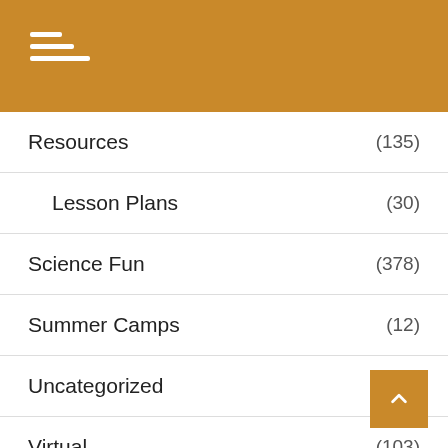[Figure (other): Golden/amber colored navigation header bar with hamburger menu icon (three white horizontal lines of increasing width)]
Resources (135)
Lesson Plans (30)
Science Fun (378)
Summer Camps (12)
Uncategorized (3)
Virtual (103)
Workshop (8)